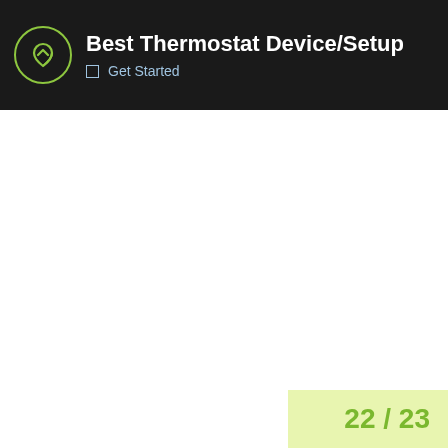Best Thermostat Device/Setup | Get Started
22 / 23